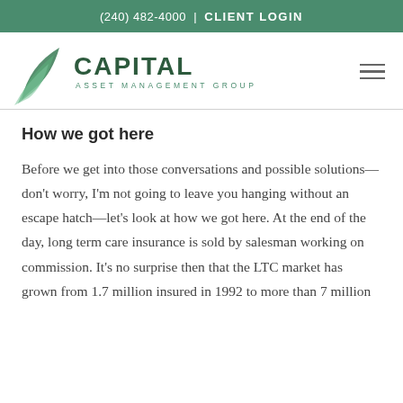(240) 482-4000 | CLIENT LOGIN
[Figure (logo): Capital Asset Management Group logo with green swoosh graphic and text]
How we got here
Before we get into those conversations and possible solutions—don't worry, I'm not going to leave you hanging without an escape hatch—let's look at how we got here. At the end of the day, long term care insurance is sold by salesman working on commission. It's no surprise then that the LTC market has grown from 1.7 million insured in 1992 to more than 7 million